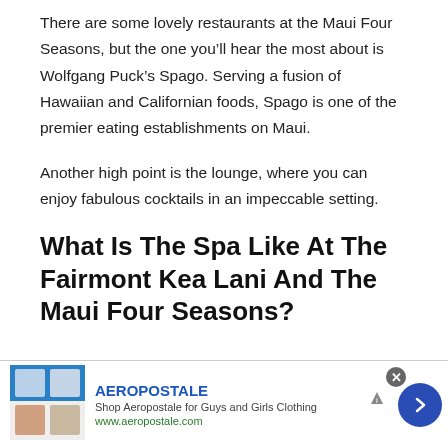There are some lovely restaurants at the Maui Four Seasons, but the one you’ll hear the most about is Wolfgang Puck’s Spago. Serving a fusion of Hawaiian and Californian foods, Spago is one of the premier eating establishments on Maui.
Another high point is the lounge, where you can enjoy fabulous cocktails in an impeccable setting.
What Is The Spa Like At The Fairmont Kea Lani And The Maui Four Seasons?
[Figure (other): Advertisement banner for Aeropostale showing clothing images on the left, brand name, description 'Shop Aeropostale for Guys and Girls Clothing', URL www.aeropostale.com, a close button (x), an ad choices icon, and a blue circular arrow button on the right.]